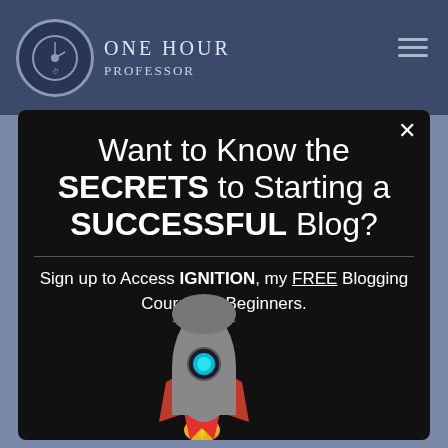ONE HOUR PROFESSOR
Want to Know the SECRETS to Starting a SUCCESSFUL Blog?
Sign up to Access IGNITION, my FREE Blogging Course for Beginners.
[Figure (illustration): Cartoon rocket ship with grey body, red fins, cyan porthole window, and yellow/red flame exhaust, flying upward to the right]